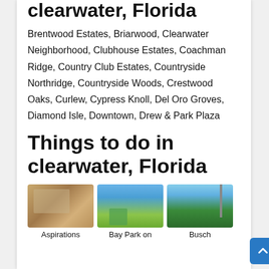clearwater, Florida
Brentwood Estates, Briarwood, Clearwater Neighborhood, Clubhouse Estates, Coachman Ridge, Country Club Estates, Countryside Northridge, Countryside Woods, Crestwood Oaks, Curlew, Cypress Knoll, Del Oro Groves, Diamond Isle, Downtown, Drew & Park Plaza
Things to do in clearwater, Florida
[Figure (photo): Aspirations - interior photo of a community center or facility]
[Figure (photo): Bay Park on - outdoor park with playground equipment]
[Figure (photo): Busch - outdoor scene with trees and structure]